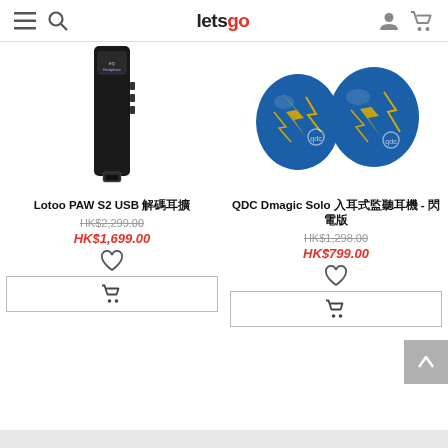letsgo
[Figure (photo): Lotoo PAW S2 USB DAC/amplifier dongle, black rectangular device with small screen]
[Figure (photo): QDC Dmagic Solo in-ear monitors, blue with gold lightning bolt pattern, two earpieces shown]
Lotoo PAW S2 USB 解碼耳擴
HK$2,299.00
HK$1,699.00
QDC Dmagic Solo 入耳式監聽耳機 - 閃電版
HK$1,298.00
HK$799.00